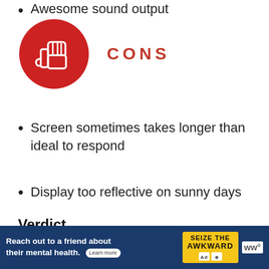Awesome sound output
[Figure (illustration): Red circle with a thumbs-down icon and CONS label in red capital letters]
Screen sometimes takes longer than ideal to respond
Display too reflective on sunny days
Verdict
Th...
[Figure (infographic): Advertisement banner: Reach out to a friend about their mental health. Learn more. Seize The Awkward.]